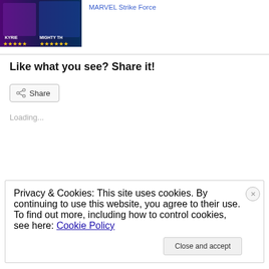[Figure (screenshot): Game promotional image showing KYRIE and MIGHTY THO characters with star ratings on dark background]
MARVEL Strike Force
Like what you see? Share it!
Share
Loading...
Privacy & Cookies: This site uses cookies. By continuing to use this website, you agree to their use.
To find out more, including how to control cookies, see here: Cookie Policy
Close and accept